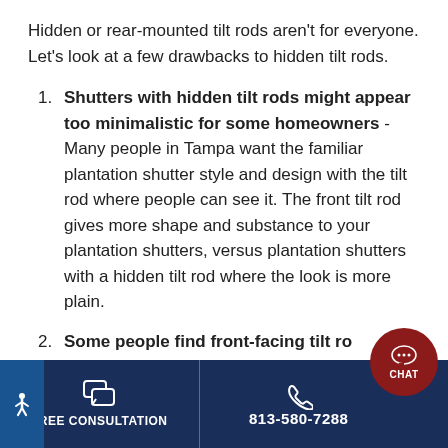Hidden or rear-mounted tilt rods aren't for everyone. Let's look at a few drawbacks to hidden tilt rods.
Shutters with hidden tilt rods might appear too minimalistic for some homeowners - Many people in Tampa want the familiar plantation shutter style and design with the tilt rod where people can see it. The front tilt rod gives more shape and substance to your plantation shutters, versus plantation shutters with a hidden tilt rod where the look is more plain.
Some people find front-facing tilt ro...
FREE CONSULTATION | 813-580-7288